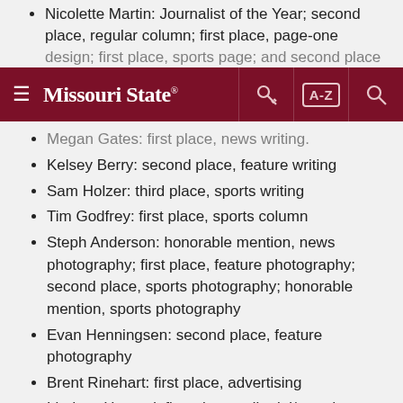Nicolette Martin: Journalist of the Year; second place, regular column; first place, page-one design; first place, sports page; and second place…
Missouri State navigation bar
Megan Gates: first place, news writing.
Kelsey Berry: second place, feature writing
Sam Holzer: third place, sports writing
Tim Godfrey: first place, sports column
Steph Anderson: honorable mention, news photography; first place, feature photography; second place, sports photography; honorable mention, sports photography
Evan Henningsen: second place, feature photography
Brent Rinehart: first place, advertising
Lindsey Howard: first place, editorial/op-ed page
Staff: third place, special section, and third place, website home page